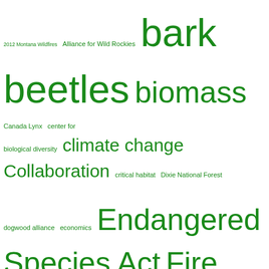[Figure (infographic): Tag cloud with forest/environmental topics in green, with font sizes indicating relative frequency/importance. Terms include: 2012 Montana Wildfires, Alliance for Wild Rockies, bark beetles, biomass, Canada Lynx, center for biological diversity, climate change, Collaboration, critical habitat, Dixie National Forest, dogwood alliance, economics, Endangered Species Act, Fire and Fuels, FireWise, Flathead National Forest, Forest Jobs and Recreation Act, Giant Sequoias, Home Ignition Zone, King Fire, Lewis and Clark National Forest, Lodgepole pine, Lolo National Forest, Montana, old growth, Photos, public lands grazing, Restoration, Rim Fire, salvage logging, science, Swan View Coalition, Temporary Logging]